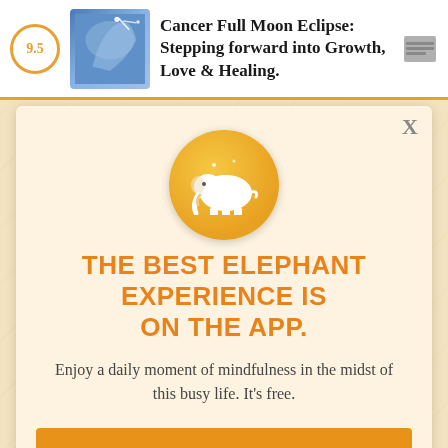Cancer Full Moon Eclipse: Stepping forward into Growth, Love & Healing.
[Figure (other): Elephant Journal app promotional modal with orange elephant logo badge]
THE BEST ELEPHANT EXPERIENCE IS ON THE APP.
Enjoy a daily moment of mindfulness in the midst of this busy life. It's free.
GET THE APP
OPEN IN APP